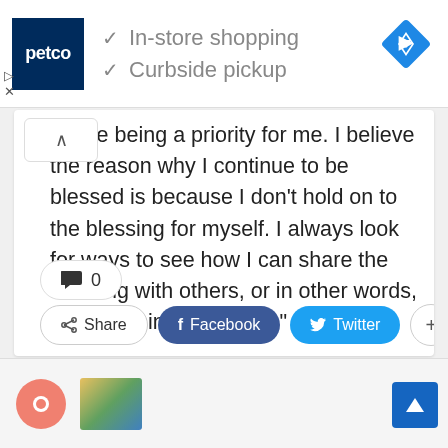[Figure (screenshot): Petco advertisement banner with logo, checkmarks for In-store shopping and Curbside pickup, and a navigation diamond icon]
ntinue being a priority for me. I believe the reason why I continue to be blessed is because I don't hold on to the blessing for myself. I always look for ways to see how I can share the blessing with others, or in other words, be a blessing for others.”
0
Share   Facebook   Twitter   +